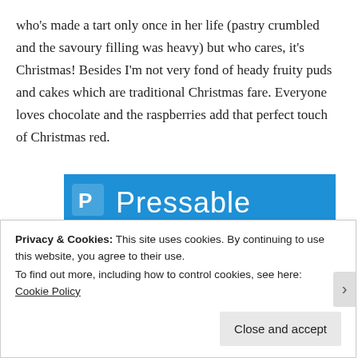who's made a tart only once in her life (pastry crumbled and the savoury filling was heavy) but who cares, it's Christmas! Besides I'm not very fond of heady fruity puds and cakes which are traditional Christmas fare. Everyone loves chocolate and the raspberries add that perfect touch of Christmas red.
[Figure (screenshot): Pressable advertisement banner showing the Pressable logo in white on a blue background, a green underline, and a person in a white shirt leaping while holding a laptop.]
Privacy & Cookies: This site uses cookies. By continuing to use this website, you agree to their use.
To find out more, including how to control cookies, see here: Cookie Policy
Close and accept